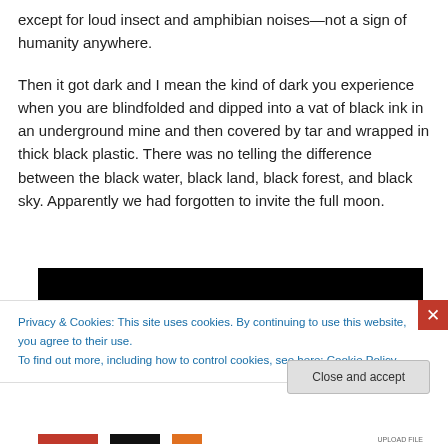except for loud insect and amphibian noises—not a sign of humanity anywhere.
Then it got dark and I mean the kind of dark you experience when you are blindfolded and dipped into a vat of black ink in an underground mine and then covered by tar and wrapped in thick black plastic. There was no telling the difference between the black water, black land, black forest, and black sky. Apparently we had forgotten to invite the full moon.
[Figure (photo): A very dark, nearly all-black photograph, presumably taken at night outdoors.]
Privacy & Cookies: This site uses cookies. By continuing to use this website, you agree to their use.
To find out more, including how to control cookies, see here: Cookie Policy
Close and accept